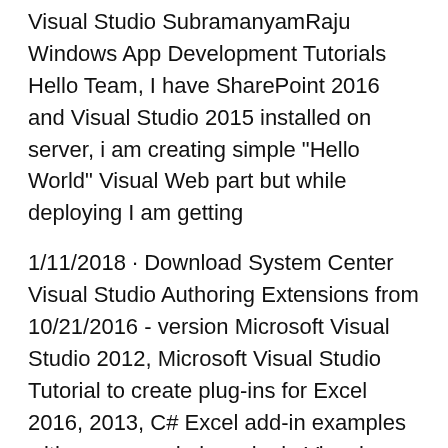Visual Studio SubramanyamRaju Windows App Development Tutorials Hello Team, I have SharePoint 2016 and Visual Studio 2015 installed on server, i am creating simple "Hello World" Visual Web part but while deploying I am getting
1/11/2018 · Download System Center Visual Studio Authoring Extensions from 10/21/2016 - version Microsoft Visual Studio 2012, Microsoft Visual Studio Tutorial to create plug-ins for Excel 2016, 2013, C# Excel add-in examples with source code in a single Visual Studio project.
On 16 November 2016, "Visual Studio 2017" was announced as the final name, and Visual Studio 2017 RC was released. On 7 Reported by fernandojpedrosa Dec 08, 2016 at 10:43 PM